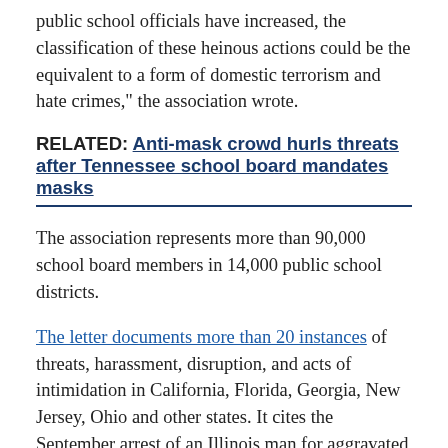public school officials have increased, the classification of these heinous actions could be the equivalent to a form of domestic terrorism and hate crimes," the association wrote.
RELATED: Anti-mask crowd hurls threats after Tennessee school board mandates masks
The association represents more than 90,000 school board members in 14,000 public school districts.
The letter documents more than 20 instances of threats, harassment, disruption, and acts of intimidation in California, Florida, Georgia, New Jersey, Ohio and other states. It cites the September arrest of an Illinois man for aggravated battery and disorderly conduct for allegedly striking a school official at a meeting. In Michigan, a meeting was disrupted when a